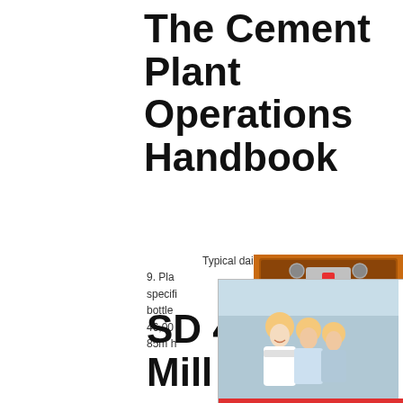The Cement Plant Operations Handbook
Typical daily production report – 7. Typical daily production report...
9. Plant section 10. description 10n ... specifi... bottle... 46,00... 85m h...
SD 416 Portland Cement Mill Certification 1. Scope
[Figure (photo): Live Chat popup with workers wearing hard hats and a Live Chat CTA overlay with Chat now / Chat later buttons]
[Figure (infographic): Right side advertisement panel showing industrial machinery, Enjoy 3% discount / Click to Chat / Enquiry / limingjlmofen@sina.com]